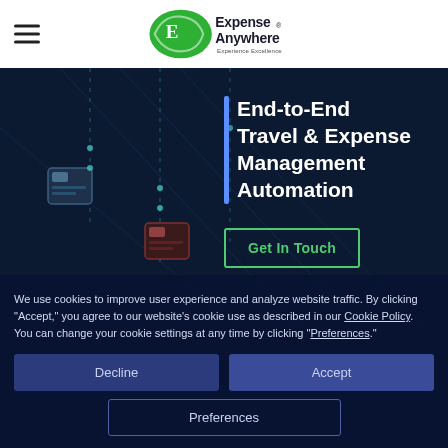[Figure (logo): Expense Anywhere logo with green circular background and white text 'Expense Anywhere - Experience Excellence']
End-to-End Travel & Expense Management Automation
Get In Touch
We use cookies to improve user experience and analyze website traffic. By clicking "Accept," you agree to our website's cookie use as described in our Cookie Policy. You can change your cookie settings at any time by clicking "Preferences."
Decline
Accept
Preferences